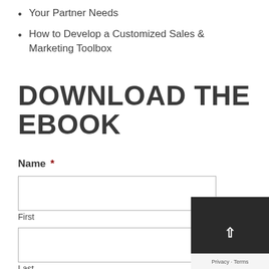Your Partner Needs
How to Develop a Customized Sales & Marketing Toolbox
DOWNLOAD THE EBOOK
Name *
First
Last